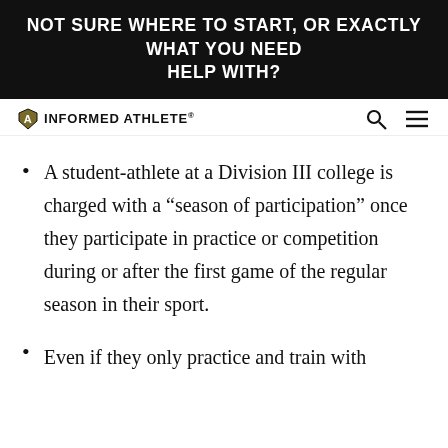NOT SURE WHERE TO START, OR EXACTLY WHAT YOU NEED HELP WITH?
[Figure (logo): Informed Athlete logo with shield icon and navigation icons (search and hamburger menu)]
A student-athlete at a Division III college is charged with a “season of participation” once they participate in practice or competition during or after the first game of the regular season in their sport.
Even if they only practice and train with